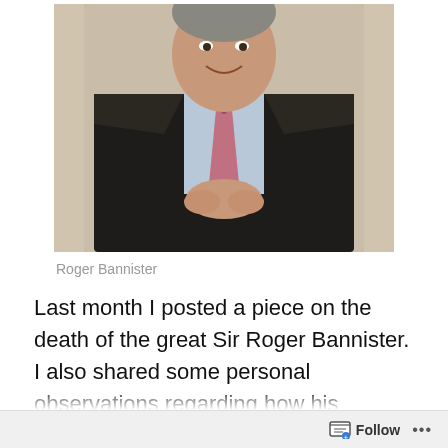[Figure (photo): Portrait photo of an elderly man in a dark suit with a pink tie, hands clasped, smiling, with a light background]
Roger Bannister
Last month I posted a piece on the death of the great Sir Roger Bannister. I also shared some personal observations regarding how his example affected my life. His athletic accomplishments and lifelong efforts to cure chronic neurological diseases ended with the tragic irony of his own death due to one of those, Parkinson's disease